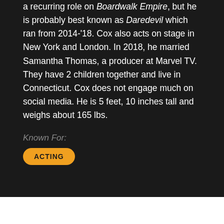a recurring role on Boardwalk Empire, but he is probably best known as Daredevil which ran from 2014-'18. Cox also acts on stage in New York and London. In 2018, he married Samantha Thomas, a producer at Marvel TV. They have 2 children together and live in Connecticut. Cox does not engage much on social media. He is 5 feet, 10 inches tall and weighs about 165 lbs.
Known For:
ACTING